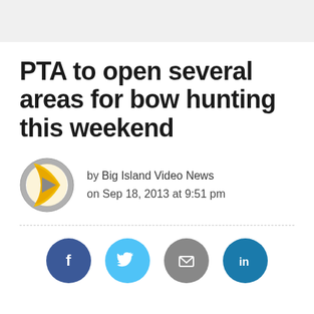PTA to open several areas for bow hunting this weekend
by Big Island Video News
on Sep 18, 2013 at 9:51 pm
[Figure (logo): Big Island Video News logo: circular badge with gold arrow/play shape and grey play button in center]
[Figure (infographic): Social share buttons: Facebook (dark blue), Twitter (light blue), Email (grey), LinkedIn (teal)]